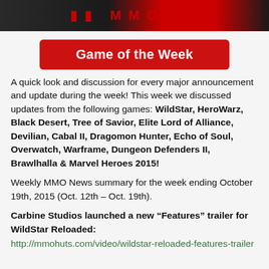[Figure (photo): Dark banner image with red text elements at top of page]
Game of the Week
A quick look and discussion for every major announcement and update during the week! This week we discussed updates from the following games: WildStar, HeroWarz, Black Desert, Tree of Savior, Elite Lord of Alliance, Devilian, Cabal II, Dragomon Hunter, Echo of Soul, Overwatch, Warframe, Dungeon Defenders II, Brawlhalla & Marvel Heroes 2015!
Weekly MMO News summary for the week ending October 19th, 2015 (Oct. 12th – Oct. 19th).
Carbine Studios launched a new “Features” trailer for WildStar Reloaded:
http://mmohuts.com/video/wildstar-reloaded-features-trailer